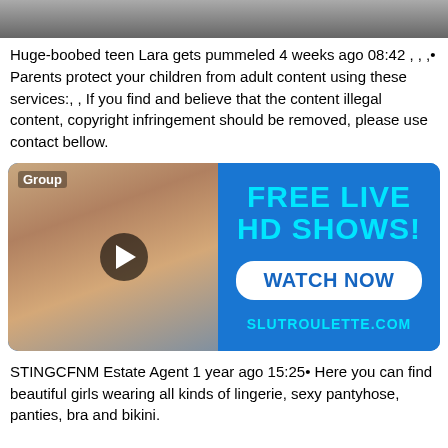[Figure (photo): Partial image at top of page, cropped screenshot]
Huge-boobed teen Lara gets pummeled 4 weeks ago 08:42 , , ,• Parents protect your children from adult content using these services:, , If you find and believe that the content illegal content, copyright infringement should be removed, please use contact bellow.
[Figure (screenshot): Advertisement banner with photo on left and 'FREE LIVE HD SHOWS! WATCH NOW SLUTROULETTE.COM' text on right blue background]
STINGCFNM Estate Agent 1 year ago 15:25• Here you can find beautiful girls wearing all kinds of lingerie, sexy pantyhose, panties, bra and bikini.